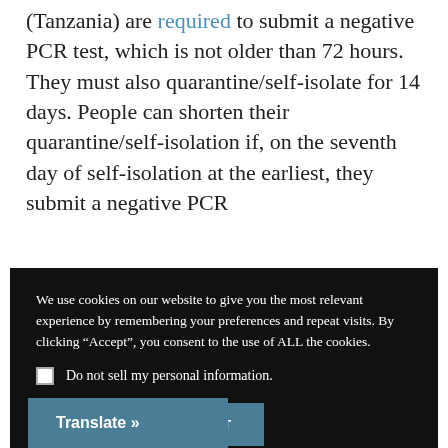(Tanzania) are required to submit a negative PCR test, which is not older than 72 hours. They must also quarantine/self-isolate for 14 days. People can shorten their quarantine/self-isolation if, on the seventh day of self-isolation at the earliest, they submit a negative PCR
We use cookies on our website to give you the most relevant experience by remembering your preferences and repeat visits. By clicking “Accept”, you consent to the use of ALL the cookies.
Do not sell my personal information.
Cookie settings  ACCEPT
Translate »